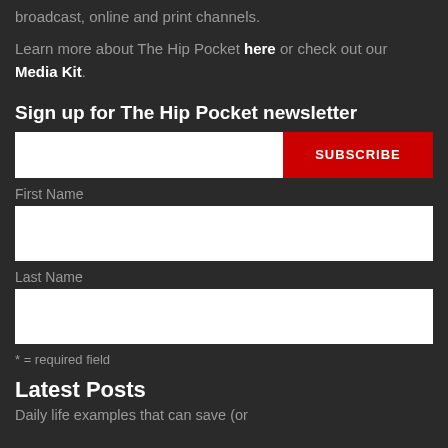broadcast, online and print channels.
Learn more about The Hip Pocket here or check out our Media Kit.
Sign up for The Hip Pocket newsletter
First Name
Last Name
* = required field
Latest Posts
Daily life examples that can save (or